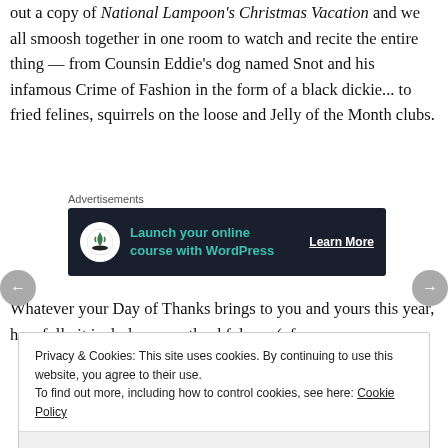out a copy of National Lampoon's Christmas Vacation and we all smoosh together in one room to watch and recite the entire thing — from Counsin Eddie's dog named Snot and his infamous Crime of Fashion in the form of a black dickie... to fried felines, squirrels on the loose and Jelly of the Month clubs.
[Figure (other): Advertisement banner: dark navy background with tree/bonsai icon, teal text 'Launch your online course with WordPress', white underlined 'Learn More' call-to-action button. Labeled 'Advertisements' above.]
Whatever your Day of Thanks brings to you and yours this year, hopefully it includes some thankfulness (of
Privacy & Cookies: This site uses cookies. By continuing to use this website, you agree to their use.
To find out more, including how to control cookies, see here: Cookie Policy
Close and accept